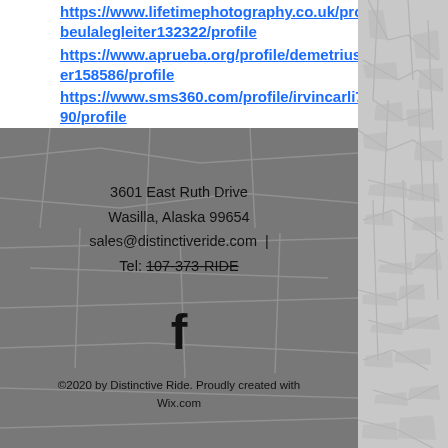https://www.lifetimephotography.co.uk/profile/beulalegleiter132322/profile
https://www.aprueba.org/profile/demetriusroger158586/profile
https://www.sms360.com/profile/irvincarli74090/profile
3601 East Ruth Drive
Wasilla, Alaska 99654
sales@distinctiveride.com  |
Tel: 107-373-RIDE
©2020 by Distinctive Ride. Proudly created with Wix.com